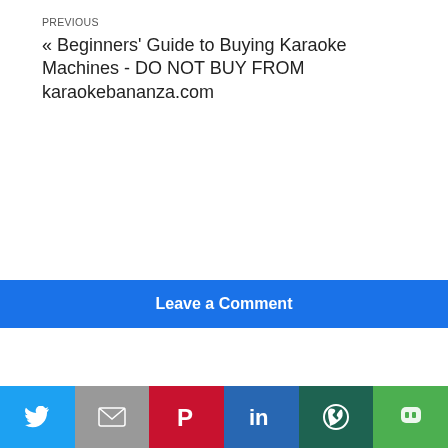PREVIOUS
« Beginners' Guide to Buying Karaoke Machines - DO NOT BUY FROM karaokebananza.com
Leave a Comment
SHARE
[Figure (other): Row of social share icon buttons: Twitter (blue), Gmail (gray), Pinterest (red), LinkedIn (blue), WhatsApp (dark green), Line (green)]
PUBLISHED BY
Staff
[Figure (other): Bottom bar with social share icons: Twitter, Gmail, Pinterest, LinkedIn, WhatsApp, Line]